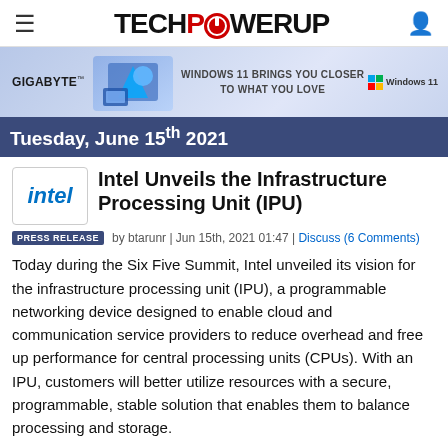TechPowerUp
[Figure (illustration): Gigabyte advertisement banner with Windows 11 branding and colorful graphic]
Tuesday, June 15th 2021
[Figure (logo): Intel logo in blue italic text inside a bordered box]
Intel Unveils the Infrastructure Processing Unit (IPU)
PRESS RELEASE  by btarunr | Jun 15th, 2021 01:47 | Discuss (6 Comments)
Today during the Six Five Summit, Intel unveiled its vision for the infrastructure processing unit (IPU), a programmable networking device designed to enable cloud and communication service providers to reduce overhead and free up performance for central processing units (CPUs). With an IPU, customers will better utilize resources with a secure, programmable, stable solution that enables them to balance processing and storage.